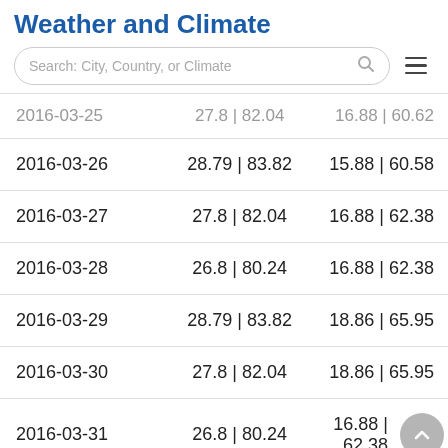Weather and Climate
Search: City, Country, or Climate
| Date | Max °C | °F | Min °C | °F |
| --- | --- | --- |
| 2016-03-26 | 28.79 | 83.82 | 15.88 | 60.58 |
| 2016-03-27 | 27.8 | 82.04 | 16.88 | 62.38 |
| 2016-03-28 | 26.8 | 80.24 | 16.88 | 62.38 |
| 2016-03-29 | 28.79 | 83.82 | 18.86 | 65.95 |
| 2016-03-30 | 27.8 | 82.04 | 18.86 | 65.95 |
| 2016-03-31 | 26.8 | 80.24 | 16.88 | 62.38 |